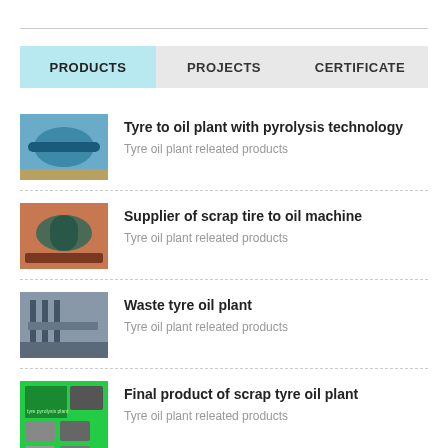PRODUCTS | PROJECTS | CERTIFICATE
Tyre to oil plant with pyrolysis technology — Tyre oil plant releated products
Supplier of scrap tire to oil machine — Tyre oil plant releated products
Waste tyre oil plant — Tyre oil plant releated products
Final product of scrap tyre oil plant — Tyre oil plant releated products
Convert tyre to oil recycling pyrolysis plant — Tyre oil plant releated products